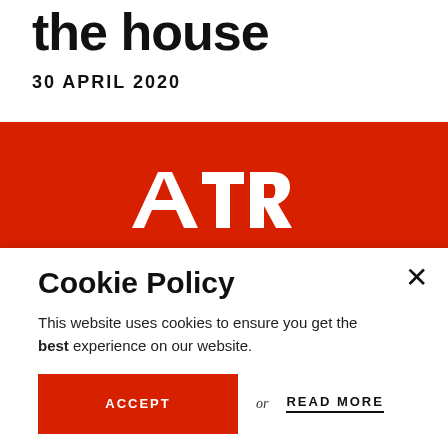the house
30 APRIL 2020
[Figure (logo): ATR logo in white italic letters on a red banner background]
Cookie Policy
This website uses cookies to ensure you get the best experience on our website.
ACCEPT   or   READ MORE